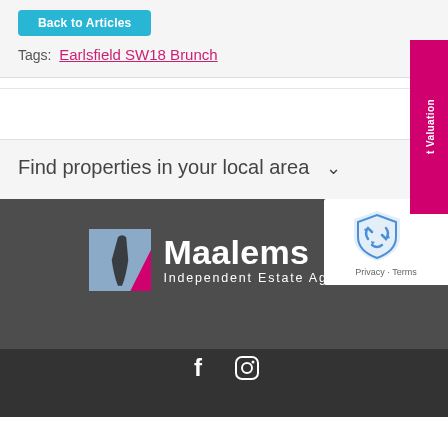Back to Articles
Tags: Earlsfield SW18 Brunch
Find properties in your local area ˅
t Valuation
[Figure (logo): Maalems Independent Estate Agents logo with pink/blue square icon and white text on dark background]
[Figure (other): reCAPTCHA widget showing logo and Privacy/Terms links]
[Figure (other): Dark footer image strip with social media icons (Facebook, Instagram)]